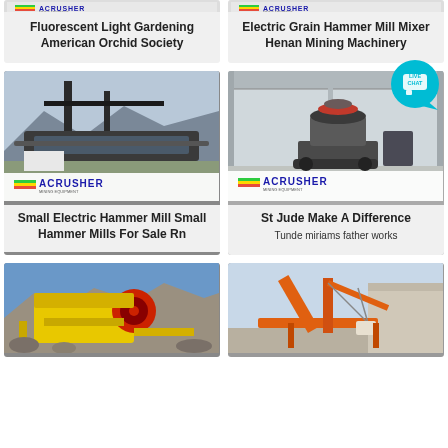[Figure (photo): ACRUSHER mining equipment logo banner (top of card 1)]
Fluorescent Light Gardening American Orchid Society
[Figure (photo): ACRUSHER mining equipment logo banner (top of card 2)]
Electric Grain Hammer Mill Mixer Henan Mining Machinery
[Figure (photo): Industrial conveyor/screening equipment at quarry site with ACRUSHER logo]
Small Electric Hammer Mill Small Hammer Mills For Sale Rn
[Figure (photo): VSI crusher machine in industrial warehouse with ACRUSHER logo]
St Jude Make A Difference
Tunde miriams father works
[Figure (photo): Yellow jaw crusher machine at quarry site]
[Figure (photo): Orange conveyor/crane equipment at industrial site]